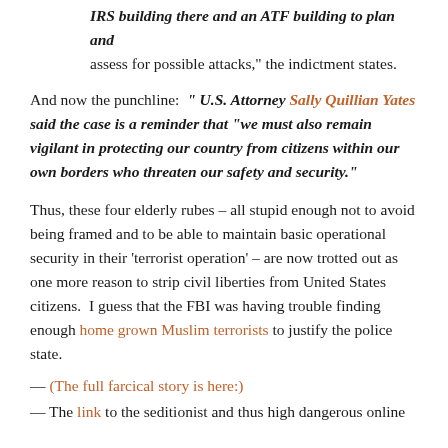IRS building there and an ATF building to plan and assess for possible attacks," the indictment states.
And now the punchline: " U.S. Attorney Sally Quillian Yates said the case is a reminder that "we must also remain vigilant in protecting our country from citizens within our own borders who threaten our safety and security."
Thus, these four elderly rubes – all stupid enough not to avoid being framed and to be able to maintain basic operational security in their 'terrorist operation' – are now trotted out as one more reason to strip civil liberties from United States citizens.  I guess that the FBI was having trouble finding enough home grown Muslim terrorists to justify the police state.
— (The full farcical story is here:)
— The link to the seditionist and thus high dangerous online